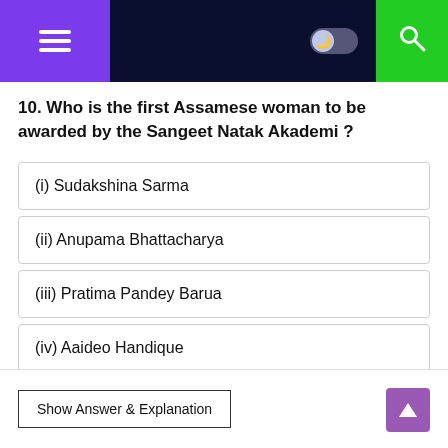Navigation bar with menu, dark mode toggle, and search
10. Who is the first Assamese woman to be awarded by the Sangeet Natak Akademi ?
(i) Sudakshina Sarma
(ii) Anupama Bhattacharya
(iii) Pratima Pandey Barua
(iv) Aaideo Handique
Show Answer & Explanation